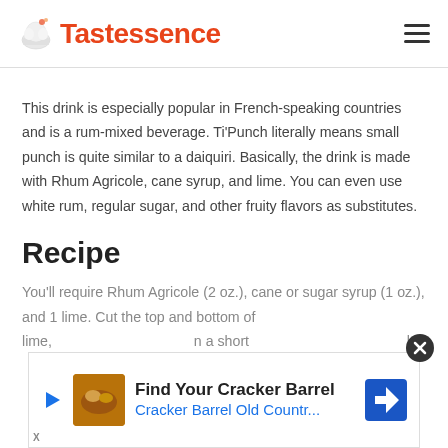Tastessence
This drink is especially popular in French-speaking countries and is a rum-mixed beverage. Ti'Punch literally means small punch is quite similar to a daiquiri. Basically, the drink is made with Rhum Agricole, cane syrup, and lime. You can even use white rum, regular sugar, and other fruity flavors as substitutes.
Recipe
You'll require Rhum Agricole (2 oz.), cane or sugar syrup (1 oz.), and 1 lime. Cut the top and bottom of lime, and a short old
[Figure (other): Advertisement banner: Find Your Cracker Barrel - Cracker Barrel Old Countr...]